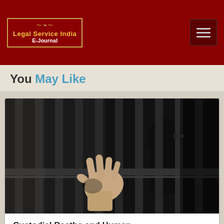Legal Service India E-Journal
You May Like
[Figure (photo): Black and white photo of a person's hand reaching through jail bars, with a shadowy figure visible behind the bars]
Custodial Deaths and Human ...